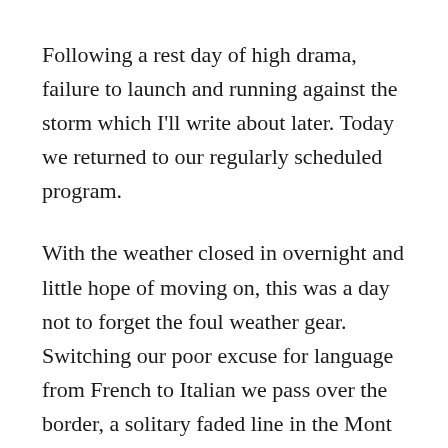Following a rest day of high drama, failure to launch and running against the storm which I'll write about later. Today we returned to our regularly scheduled program.
With the weather closed in overnight and little hope of moving on, this was a day not to forget the foul weather gear. Switching our poor excuse for language from French to Italian we pass over the border, a solitary faded line in the Mont Blanc tunnel indicating you're now in Italy. Well and truly on our way to one of the most picturesque of the Mont Blanc or should I say Monte Bianco valleys, the Italian Val Ferret.